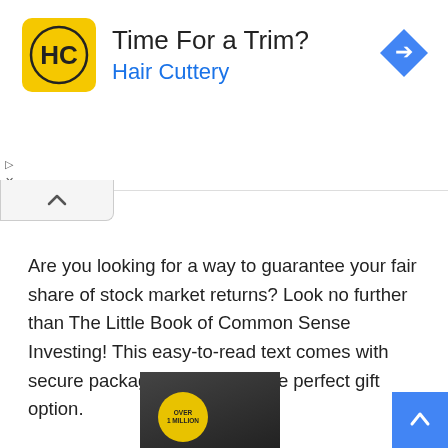[Figure (screenshot): Advertisement banner for Hair Cuttery with yellow logo icon, text 'Time For a Trim? Hair Cuttery', and a blue diamond navigation arrow icon on the right.]
Are you looking for a way to guarantee your fair share of stock market returns? Look no further than The Little Book of Common Sense Investing! This easy-to-read text comes with secure packaging, making it the perfect gift option.
The Only Investment Guide You'Ll Ever Need
[Figure (photo): Book cover image showing stacks of money with a yellow circular badge reading 'OVER 1 MILLION'.]